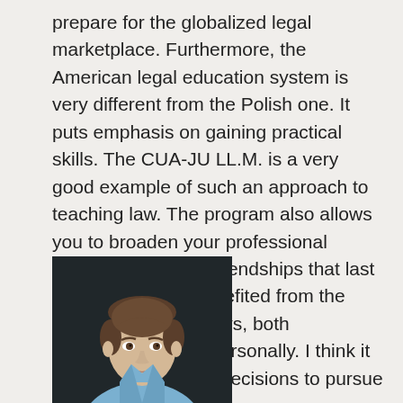prepare for the globalized legal marketplace. Furthermore, the American legal education system is very different from the Polish one. It puts emphasis on gaining practical skills. The CUA-JU LL.M. is a very good example of such an approach to teaching law. The program also allows you to broaden your professional network and make friendships that last for years. I have benefited from the program in many ways, both professionally and personally. I think it was one of my best decisions to pursue the LL.M degree.
[Figure (photo): Portrait photo of a young man with short brown hair wearing a light blue shirt, photographed against a dark background]